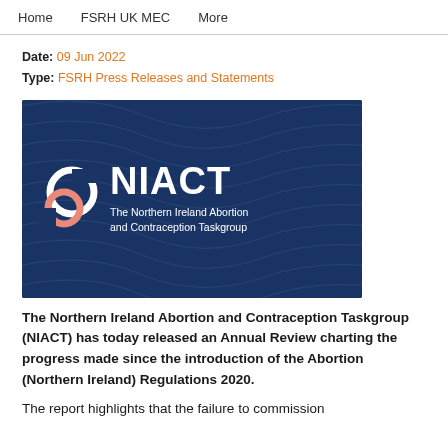Home    FSRH UK MEC    More
Date: 09 Jun 2022
Type: FSRH Press Releases and Statements
[Figure (logo): NIACT logo on dark blue background with decorative wave pattern. Shows circular interlinked rings logo in white and pink/salmon color beside large white bold text 'NIACT' and subtitle 'The Northern Ireland Abortion and Contraception Taskgroup']
The Northern Ireland Abortion and Contraception Taskgroup (NIACT) has today released an Annual Review charting the progress made since the introduction of the Abortion (Northern Ireland) Regulations 2020.
The report highlights that the failure to commission